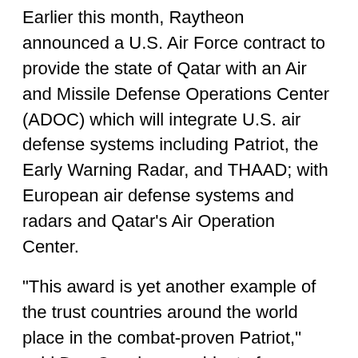Earlier this month, Raytheon announced a U.S. Air Force contract to provide the state of Qatar with an Air and Missile Defense Operations Center (ADOC) which will integrate U.S. air defense systems including Patriot, the Early Warning Radar, and THAAD; with European air defense systems and radars and Qatar's Air Operation Center.
"This award is yet another example of the trust countries around the world place in the combat-proven Patriot," said Dan Crowley, president of Raytheon's Integrated Defense Systems business. "As our customer base continues to grow, our global partners benefit from the shared costs for system upgrades and enhancements through Raytheon's unique Engineering Services Program. This ensures that Patriot remains at the highest level of readiness to counter current and evolving threats anywhere in the world."